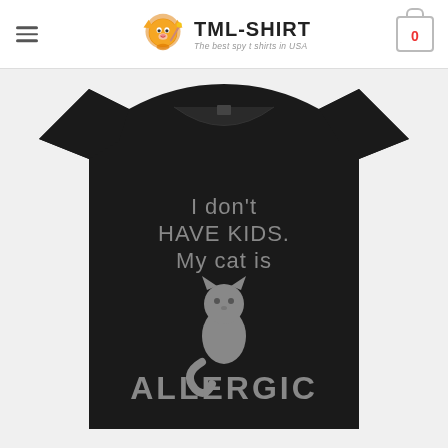TML-SHIRT - The best spy t shirts in USA
[Figure (photo): Black t-shirt with gray text and cat silhouette graphic reading: I don't have kids. My cat is ALLERGIC]